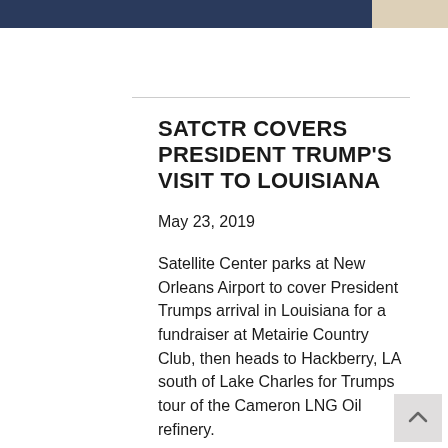[Figure (photo): Dark photograph bar at top of page, partially visible image]
SATCTR COVERS PRESIDENT TRUMP'S VISIT TO LOUISIANA
May 23, 2019
Satellite Center parks at New Orleans Airport to cover President Trumps arrival in Louisiana for a fundraiser at Metairie Country Club, then heads to Hackberry, LA south of Lake Charles for Trumps tour of the Cameron LNG Oil refinery.
His trip to the giant refinery's Export facility is to see the